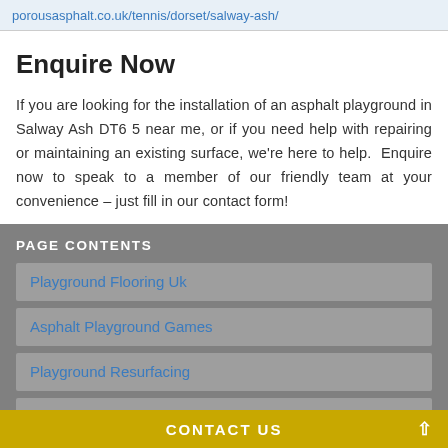porousasphalt.co.uk/tennis/dorset/salway-ash/
Enquire Now
If you are looking for the installation of an asphalt playground in Salway Ash DT6 5 near me, or if you need help with repairing or maintaining an existing surface, we're here to help.  Enquire now to speak to a member of our friendly team at your convenience – just fill in our contact form!
PAGE CONTENTS
Playground Flooring Uk
Asphalt Playground Games
Playground Resurfacing
Playground Surfaces
CONTACT US